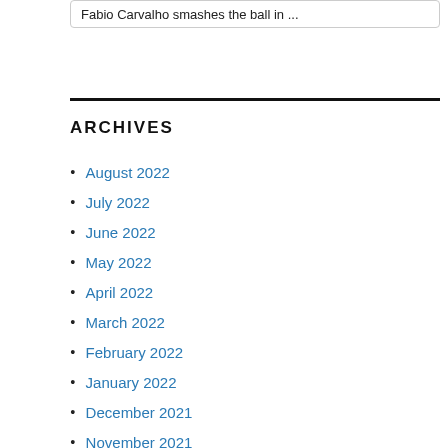Fabio Carvalho smashes the ball in ...
ARCHIVES
August 2022
July 2022
June 2022
May 2022
April 2022
March 2022
February 2022
January 2022
December 2021
November 2021